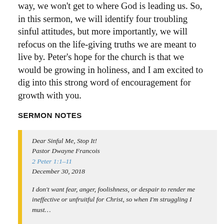way, we won't get to where God is leading us. So, in this sermon, we will identify four troubling sinful attitudes, but more importantly, we will refocus on the life-giving truths we are meant to live by. Peter's hope for the church is that we would be growing in holiness, and I am excited to dig into this strong word of encouragement for growth with you.
SERMON NOTES
Dear Sinful Me, Stop It!
Pastor Dwayne Francois
2 Peter 1:1–11
December 30, 2018
I don't want fear, anger, foolishness, or despair to render me ineffective or unfruitful for Christ, so when I'm struggling I must…
• Stop thinking Jesus loves me less when his love for me is always the same (vs. 1–2)